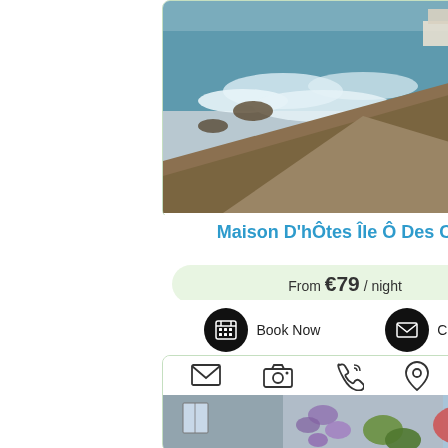[Figure (photo): Coastal cliff scene with crashing waves and a building visible at the top of the rocky headland]
Maison D'hÔtes Île Ô Des Cap
From €79 / night
Book Now   Contact
[Figure (photo): Stone building with wisteria and garden foliage, typical Breton architecture. Icons for mail, camera, phone, location pin, and heart overlaid at top.]